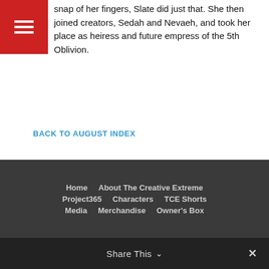snap of her fingers, Slate did just that. She then joined creators, Sedah and Nevaeh, and took her place as heiress and future empress of the 5th Oblivion.
BACK TO AUGUST INDEX
← Nevaeh
Sven Stockholm →
Home  About The Creative Extreme  Project365  Characters  TCE Shorts  Media  Merchandise  Owner's Box
Share This ∨  ✕